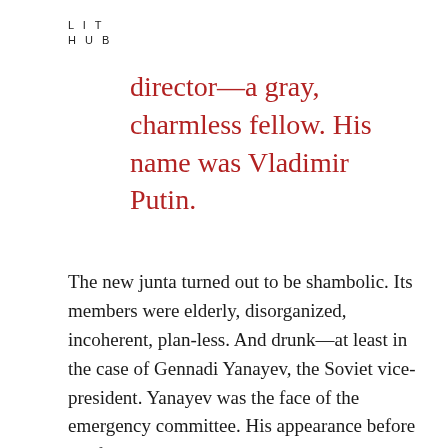LIT
HUB
director—a gray, charmless fellow. His name was Vladimir Putin.
The new junta turned out to be shambolic. Its members were elderly, disorganized, incoherent, plan-less. And drunk—at least in the case of Gennadi Yanayev, the Soviet vice-president. Yanayev was the face of the emergency committee. His appearance before the foreign press